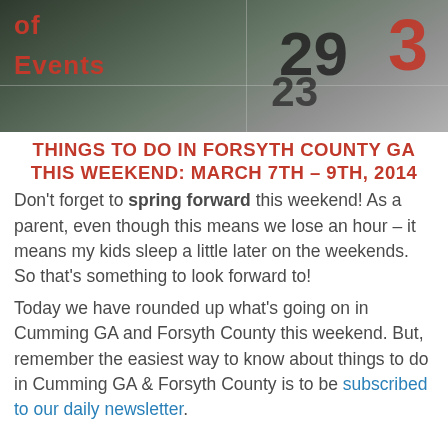[Figure (photo): Calendar image showing numbers 29, 3 in red, and 23 with text 'of Events' in red on a dark grey/green background]
THINGS TO DO IN FORSYTH COUNTY GA THIS WEEKEND: MARCH 7TH – 9TH, 2014
Don't forget to spring forward this weekend! As a parent, even though this means we lose an hour – it means my kids sleep a little later on the weekends. So that's something to look forward to!
Today we have rounded up what's going on in Cumming GA and Forsyth County this weekend. But, remember the easiest way to know about things to do in Cumming GA & Forsyth County is to be subscribed to our daily newsletter.